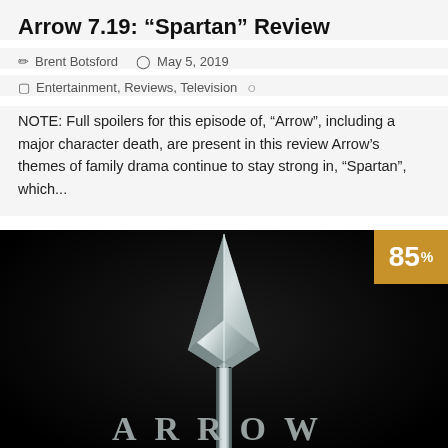Arrow 7.19: “Spartan” Review
Brent Botsford   May 5, 2019
Entertainment, Reviews, Television
NOTE: Full spoilers for this episode of, "Arrow", including a major character death, are present in this review Arrow's themes of family drama continue to stay strong in, "Spartan", which...
[Figure (photo): Dark promotional image for the TV show Arrow, showing a metallic arrowhead pointing upward with the word ARROW in large spaced letters below it. An orange score badge reading 85% appears in the top right corner.]